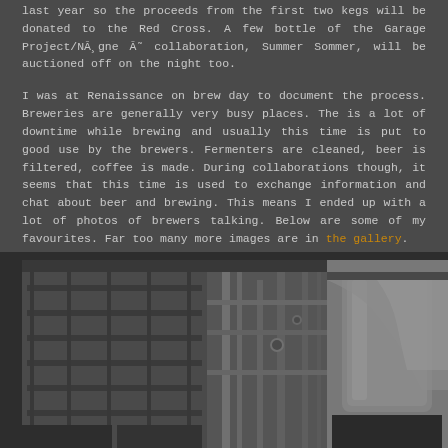last year so the proceeds from the first two kegs will be donated to the Red Cross. A few bottle of the Garage Project/NĀ¸gne Ā˜ collaboration, Summer Sommer, will be auctioned off on the night too.
I was at Renaissance on brew day to document the process. Breweries are generally very busy places. The is a lot of downtime while brewing and usually this time is put to good use by the brewers. Fermenters are cleaned, beer is filtered, coffee is made. During collaborations though, it seems that this time is used to exchange information and chat about beer and brewing. This means I ended up with a lot of photos of brewers talking. Below are some of my favourites. Far too many more images are in the gallery.
[Figure (photo): Black and white photo of brewery interior showing metal piping, brewing equipment, fermenters and brewing apparatus. Partial view showing scaffolding-like structures and cylindrical tanks.]